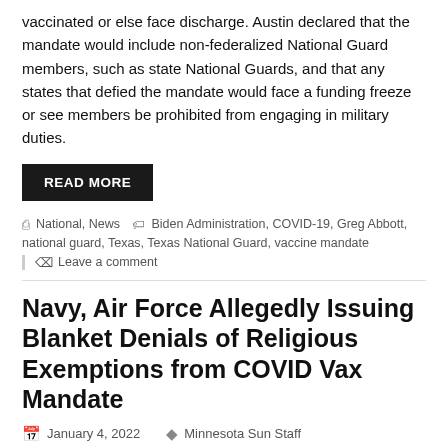vaccinated or else face discharge. Austin declared that the mandate would include non-federalized National Guard members, such as state National Guards, and that any states that defied the mandate would face a funding freeze or see members be prohibited from engaging in military duties.
READ MORE
National, News  Biden Administration, COVID-19, Greg Abbott, national guard, Texas, Texas National Guard, vaccine mandate
Leave a comment
Navy, Air Force Allegedly Issuing Blanket Denials of Religious Exemptions from COVID Vax Mandate
January 4, 2022   Minnesota Sun Staff
[Figure (photo): Photo of a military member wearing a mask, with another person partially visible, in an indoor setting.]
The Navy and Air Force are allegedly issuing predetermined blanket denials of requests for religious exemptions from the military's...